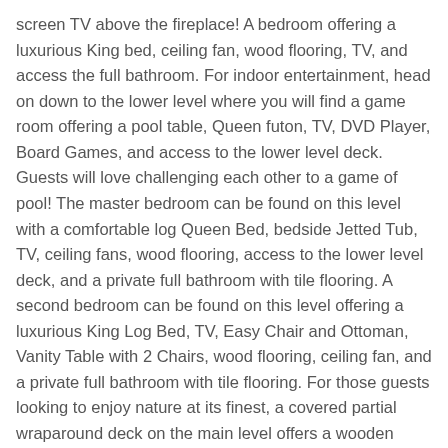screen TV above the fireplace! A bedroom offering a luxurious King bed, ceiling fan, wood flooring, TV, and access the full bathroom. For indoor entertainment, head on down to the lower level where you will find a game room offering a pool table, Queen futon, TV, DVD Player, Board Games, and access to the lower level deck. Guests will love challenging each other to a game of pool! The master bedroom can be found on this level with a comfortable log Queen Bed, bedside Jetted Tub, TV, ceiling fans, wood flooring, access to the lower level deck, and a private full bathroom with tile flooring. A second bedroom can be found on this level offering a luxurious King Log Bed, TV, Easy Chair and Ottoman, Vanity Table with 2 Chairs, wood flooring, ceiling fan, and a private full bathroom with tile flooring. For those guests looking to enjoy nature at its finest, a covered partial wraparound deck on the main level offers a wooden bench, 3 wooden rockers, a picnic table, gas grill, and a glider bench. Guests will certainly enjoy a picnic on the deck or relaxing in the rockers while enjoying the serene setting to taking in the mountain views, sounds of nature. The